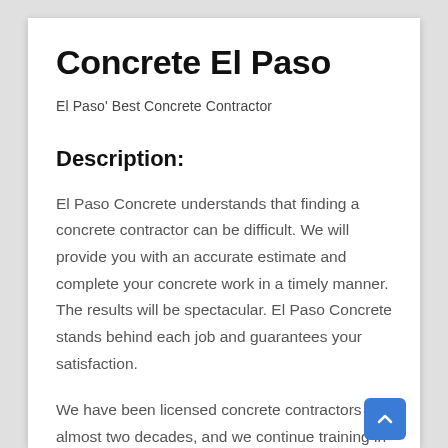Concrete El Paso
El Paso' Best Concrete Contractor
Description:
El Paso Concrete understands that finding a concrete contractor can be difficult. We will provide you with an accurate estimate and complete your concrete work in a timely manner. The results will be spectacular. El Paso Concrete stands behind each job and guarantees your satisfaction.
We have been licensed concrete contractors for almost two decades, and we continue training in the latest trends, products, and techniques. Our goal is to offer